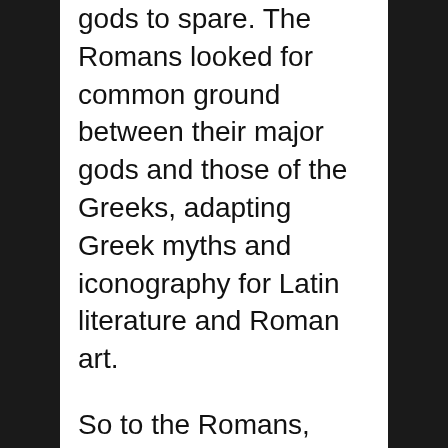gods to spare. The Romans looked for common ground between their major gods and those of the Greeks, adapting Greek myths and iconography for Latin literature and Roman art.
So to the Romans, another god more or less didn't make much difference